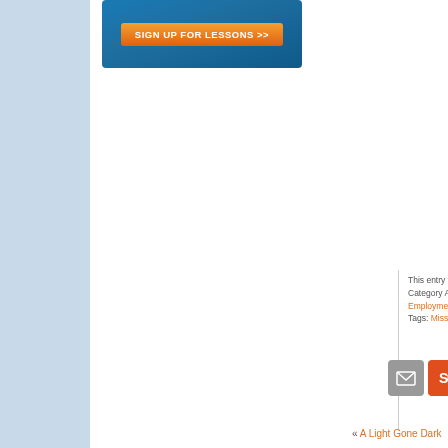[Figure (screenshot): Blue banner with orange 'SIGN UP FOR LESSONS >>' button]
This entry was posted on M... Category Archive: All Featur... Employment, Employment R... Tags: Missoula Job Service...
[Figure (other): Social share buttons: email (grey), StumbleUpon (red-orange), and a blue button]
« A Light Gone Dark